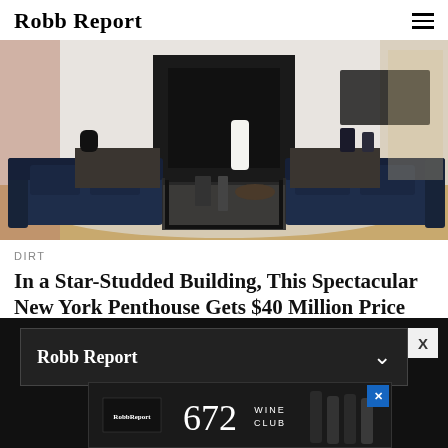Robb Report
[Figure (photo): Interior living room with navy blue sofas, black marble fireplace, white vase, and dark coffee table on a light rug]
DIRT
In a Star-Studded Building, This Spectacular New York Penthouse Gets $40 Million Price
[Figure (screenshot): Robb Report push notification bar with chevron and X button on dark background, and Robb Report 672 Wine Club advertisement banner at bottom]